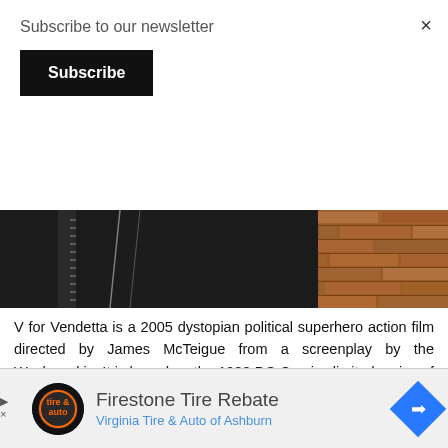Subscribe to our newsletter
Subscribe
[Figure (photo): Dark moody film still with a figure in black clothing on the left and a brick wall on the right, likely from V for Vendetta]
V for Vendetta is a 2005 dystopian political superhero action film directed by James McTeigue from a screenplay by the Wachowskis. It is based on the 1988 DC Comics limited series of the same name by Alan Moore and David Lloyd. IMDB
The transness in the Wachowskis’ work isn’t nearly so
Firestone Tire Rebate
Virginia Tire & Auto of Ashburn